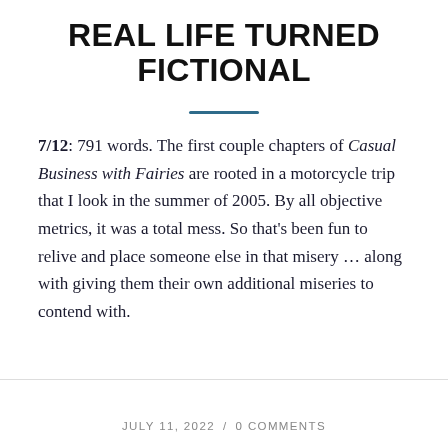REAL LIFE TURNED FICTIONAL
7/12: 791 words. The first couple chapters of Casual Business with Fairies are rooted in a motorcycle trip that I look in the summer of 2005. By all objective metrics, it was a total mess. So that’s been fun to relive and place someone else in that misery … along with giving them their own additional miseries to contend with.
JULY 11, 2022 / 0 COMMENTS